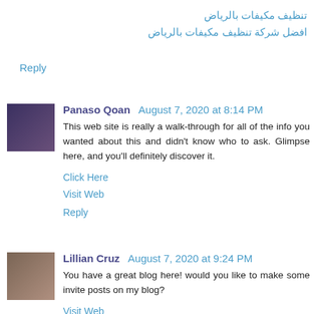تنظيف مكيفات بالرياض
افضل شركة تنظيف مكيفات بالرياض
Reply
Panaso Qoan  August 7, 2020 at 8:14 PM
This web site is really a walk-through for all of the info you wanted about this and didn't know who to ask. Glimpse here, and you'll definitely discover it.
Click Here
Visit Web
Reply
Lillian Cruz  August 7, 2020 at 9:24 PM
You have a great blog here! would you like to make some invite posts on my blog?
Visit Web